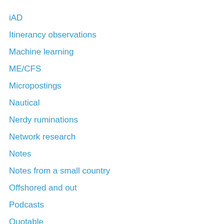iAD
Itinerancy observations
Machine learning
ME/CFS
Micropostings
Nautical
Nerdy ruminations
Network research
Notes
Notes from a small country
Offshored and out
Podcasts
Quotable
Readable
Reading
Relax a bit
Search
Security and privacy
SmartHelp
Social networks